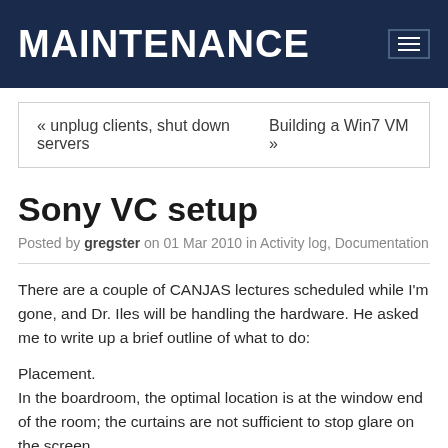MAINTENANCE
« unplug clients, shut down servers    Building a Win7 VM »
Sony VC setup
Posted by gregster on 01 Mar 2010 in Activity log, Documentation
There are a couple of CANJAS lectures scheduled while I'm gone, and Dr. Iles will be handling the hardware. He asked me to write up a brief outline of what to do:
Placement.
In the boardroom, the optimal location is at the window end of the room; the curtains are not sufficient to stop glare on the screen. I generally need to get in to the room a bit ahead of schedule to